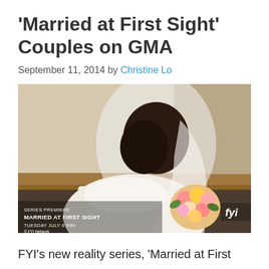'Married at First Sight' Couples on GMA
September 11, 2014 by Christine Lo
[Figure (photo): A bride in a white wedding dress and veil, seen from behind, holding a colorful bouquet of flowers. Lower-left corner shows text overlay: 'SERIES PREMIERE / MARRIED AT FIRST SIGHT / TUESDAY JULY 8 9/8c / © FYI Network'. FYI logo appears in lower-right corner.]
FYI's new reality series, 'Married at First